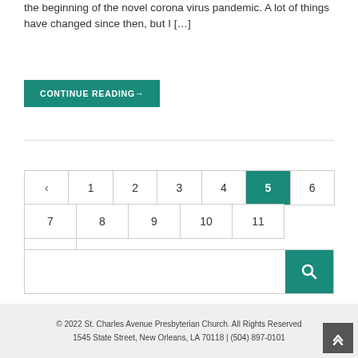the beginning of the novel corona virus pandemic. A lot of things have changed since then, but I […]
CONTINUE READING→
‹ 1 2 3 4 5 6 7 8 9 10 11 ›
[Figure (other): Search bar with teal search button containing magnifying glass icon]
© 2022 St. Charles Avenue Presbyterian Church. All Rights Reserved
1545 State Street, New Orleans, LA 70118 | (504) 897-0101